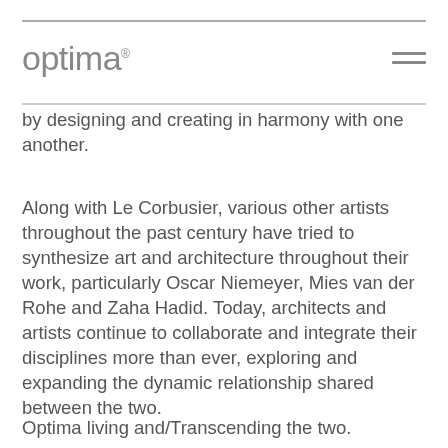optima
by designing and creating in harmony with one another.
Along with Le Corbusier, various other artists throughout the past century have tried to synthesize art and architecture throughout their work, particularly Oscar Niemeyer, Mies van der Rohe and Zaha Hadid. Today, architects and artists continue to collaborate and integrate their disciplines more than ever, exploring and expanding the dynamic relationship shared between the two.
Optima living and/Transcending the two.